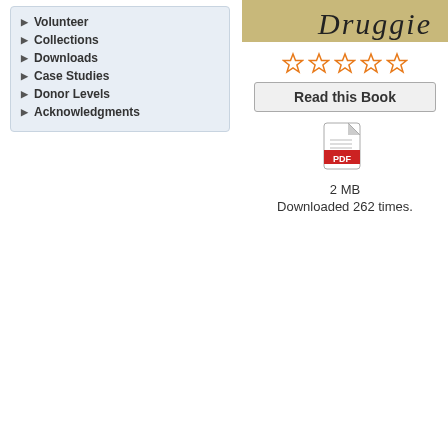Volunteer
Collections
Downloads
Case Studies
Donor Levels
Acknowledgments
[Figure (illustration): Book cover with stylized script title text on tan/brown background]
[Figure (other): Five empty star rating icons in orange outline]
Read this Book
[Figure (other): PDF file icon (red and white)]
2 MB
Downloaded 262 times.